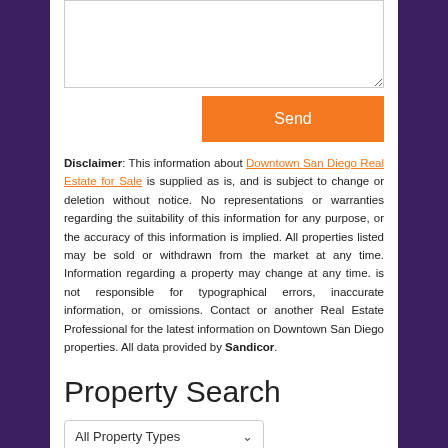Disclaimer: This information about Downtown San Diego Real Estate for Sale is supplied as is, and is subject to change or deletion without notice. No representations or warranties regarding the suitability of this information for any purpose, or the accuracy of this information is implied. All properties listed may be sold or withdrawn from the market at any time. Information regarding a property may change at any time. is not responsible for typographical errors, inaccurate information, or omissions. Contact or another Real Estate Professional for the latest information on Downtown San Diego properties. All data provided by Sandicor.
Property Search